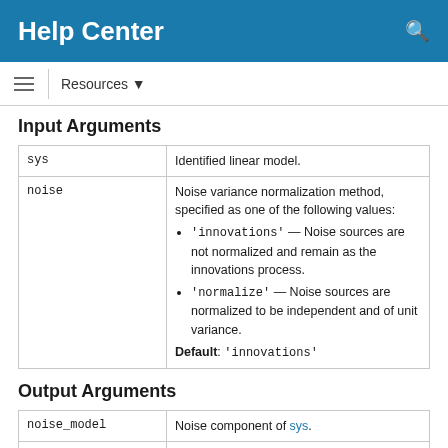Help Center
Resources ▼
Input Arguments
|  |  |
| --- | --- |
| sys | Identified linear model. |
| noise | Noise variance normalization method, specified as one of the following values:
• 'innovations' — Noise sources are not normalized and remain as the innovations process.
• 'normalize' — Noise sources are normalized to be independent and of unit variance.
Default: 'innovations' |
Output Arguments
|  |  |
| --- | --- |
| noise_model | Noise component of sys. |
|  | sys represents the system |